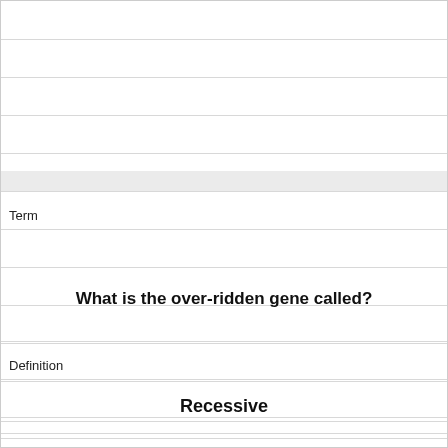Term
What is the over-ridden gene called?
Definition
Recessive